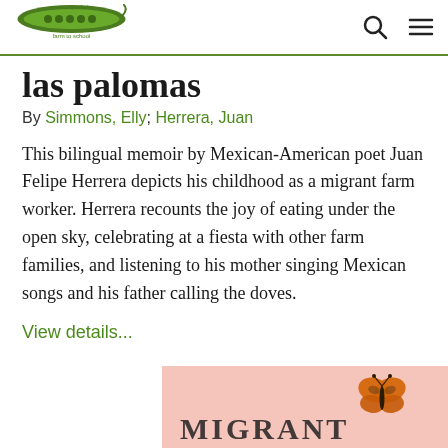growing minds farm to school
las palomas
By Simmons, Elly; Herrera, Juan
This bilingual memoir by Mexican-American poet Juan Felipe Herrera depicts his childhood as a migrant farm worker. Herrera recounts the joy of eating under the open sky, celebrating at a fiesta with other farm families, and listening to his mother singing Mexican songs and his father calling the doves.
View details...
[Figure (illustration): Partial view of a book cover with a pink/salmon background, an orange monarch butterfly illustration, and partial bold text at the bottom.]